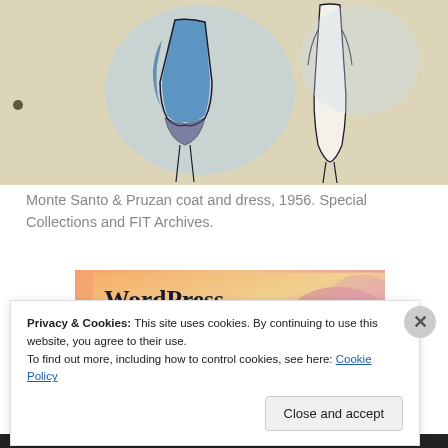[Figure (illustration): Fashion illustration showing two figures: one wearing a blue coat over a pleated skirt, another wearing a long white dress/coat, both in sketch style with watercolor accents, on a cream/tan background.]
Monte Santo & Pruzan coat and dress, 1956. Special Collections and FIT Archives.
[Figure (screenshot): WordPress promotional banner with colorful gradient background (orange, peach, pink) showing partial text 'WordPress in the back.' in large bold serif font.]
Privacy & Cookies: This site uses cookies. By continuing to use this website, you agree to their use.
To find out more, including how to control cookies, see here: Cookie Policy